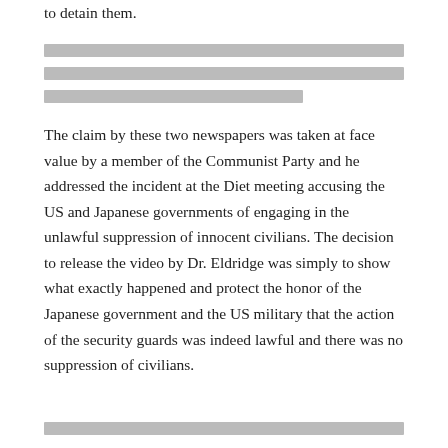to detain them.
[redacted text block]
The claim by these two newspapers was taken at face value by a member of the Communist Party and he addressed the incident at the Diet meeting accusing the US and Japanese governments of engaging in the unlawful suppression of innocent civilians. The decision to release the video by Dr. Eldridge was simply to show what exactly happened and protect the honor of the Japanese government and the US military that the action of the security guards was indeed lawful and there was no suppression of civilians.
[redacted text block]